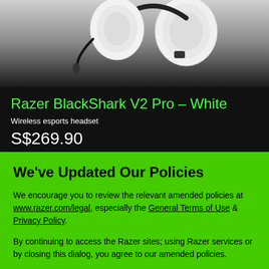[Figure (photo): Razer BlackShark V2 Pro white wireless esports headset photographed from above against a grey gradient background]
Razer BlackShark V2 Pro – White
Wireless esports headset
S$269.90
We've Updated Our Policies
We encourage you to review the relevant amended policies at www.razer.com/legal, especially the General Terms of Use & Privacy Policy.
By continuing to access the Razer sites; using Razer services or by closing this dialog, you agree to our amended policies.
I AGREE